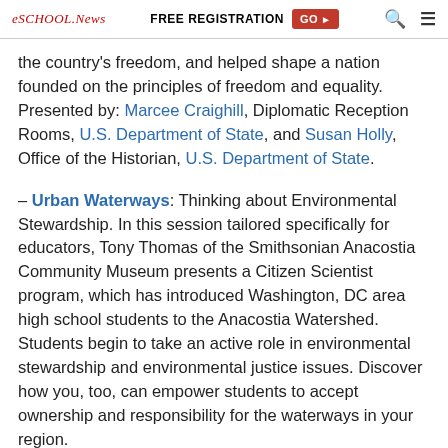eSchoolNews | FREE REGISTRATION GO ▶ 🔍 ≡
the country's freedom, and helped shape a nation founded on the principles of freedom and equality. Presented by: Marcee Craighill, Diplomatic Reception Rooms, U.S. Department of State, and Susan Holly, Office of the Historian, U.S. Department of State.
– Urban Waterways: Thinking about Environmental Stewardship. In this session tailored specifically for educators, Tony Thomas of the Smithsonian Anacostia Community Museum presents a Citizen Scientist program, which has introduced Washington, DC area high school students to the Anacostia Watershed. Students begin to take an active role in environmental stewardship and environmental justice issues. Discover how you, too, can empower students to accept ownership and responsibility for the waterways in your region.